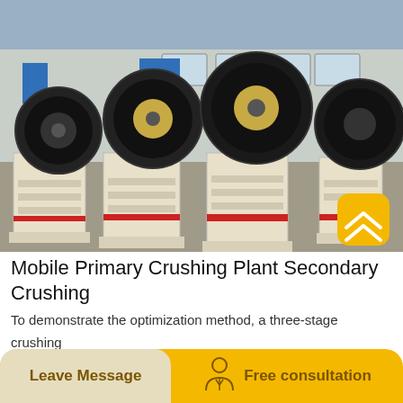[Figure (photo): Industrial factory floor showing multiple large jaw crushers lined up in a manufacturing facility. The machines are cream/white colored with large black and red flywheels on top. The factory has a steel frame structure with windows in the background. Chinese signage visible on pillars.]
Mobile Primary Crushing Plant Secondary Crushing
To demonstrate the optimization method, a three-stage crushing plant designed for aggregate production was studied. Both the
Leave Message    Free consultation